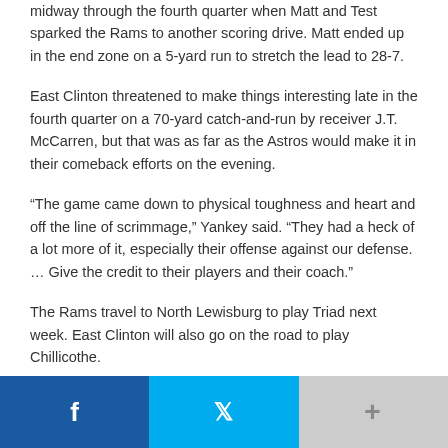midway through the fourth quarter when Matt and Test sparked the Rams to another scoring drive. Matt ended up in the end zone on a 5-yard run to stretch the lead to 28-7.
East Clinton threatened to make things interesting late in the fourth quarter on a 70-yard catch-and-run by receiver J.T. McCarren, but that was as far as the Astros would make it in their comeback efforts on the evening.
“The game came down to physical toughness and heart and off the line of scrimmage,” Yankey said. “They had a heck of a lot more of it, especially their offense against our defense. … Give the credit to their players and their coach.”
The Rams travel to North Lewisburg to play Triad next week. East Clinton will also go on the road to play Chillicothe.
Score By Quarters: